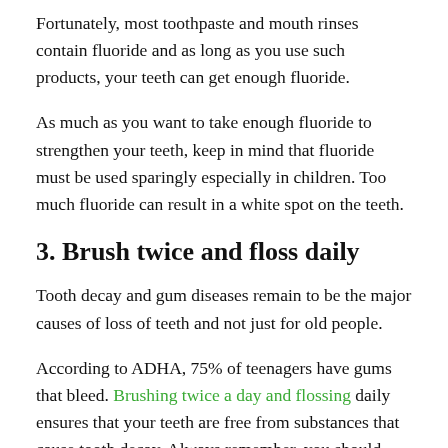Fortunately, most toothpaste and mouth rinses contain fluoride and as long as you use such products, your teeth can get enough fluoride.
As much as you want to take enough fluoride to strengthen your teeth, keep in mind that fluoride must be used sparingly especially in children. Too much fluoride can result in a white spot on the teeth.
3. Brush twice and floss daily
Tooth decay and gum diseases remain to be the major causes of loss of teeth and not just for old people.
According to ADHA, 75% of teenagers have gums that bleed. Brushing twice a day and flossing daily ensures that your teeth are free from substances that cause tooth decay. Always remember, you should change our